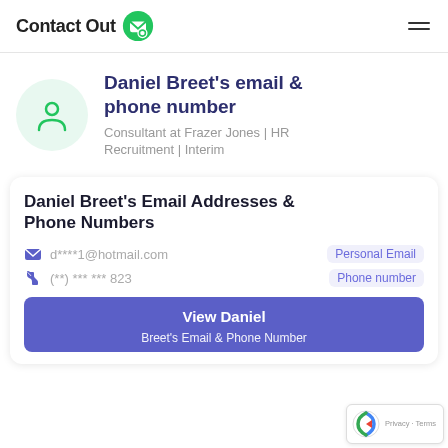ContactOut
Daniel Breet's email & phone number
Consultant at Frazer Jones | HR Recruitment | Interim
Daniel Breet's Email Addresses & Phone Numbers
d****1@hotmail.com   Personal Email
(**) *** *** 823   Phone number
View Daniel Breet's Email & Phone Number